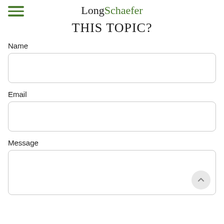LongSchaefer
THIS TOPIC?
Name
Email
Message